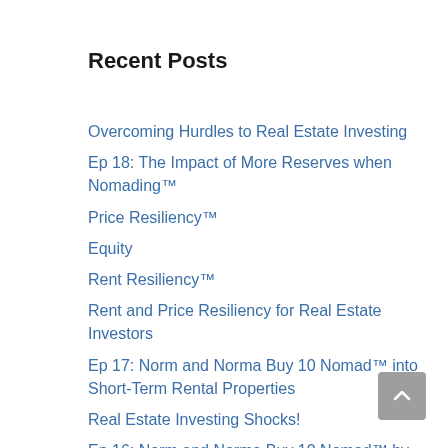Recent Posts
Overcoming Hurdles to Real Estate Investing
Ep 18: The Impact of More Reserves when Nomading™
Price Resiliency™
Equity
Rent Resiliency™
Rent and Price Resiliency for Real Estate Investors
Ep 17: Norm and Norma Buy 10 Nomad™ into Short-Term Rental Properties
Real Estate Investing Shocks!
Ep 16: Norm and Norma Buy 10 Nomad™ by